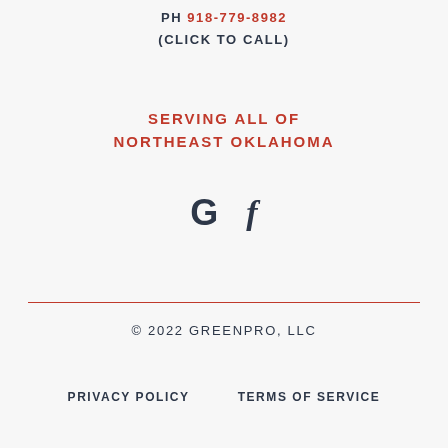PH 918-779-8982 (CLICK TO CALL)
SERVING ALL OF NORTHEAST OKLAHOMA
[Figure (other): Google and Facebook social media icons (G and f symbols)]
© 2022 GREENPRO, LLC
PRIVACY POLICY    TERMS OF SERVICE